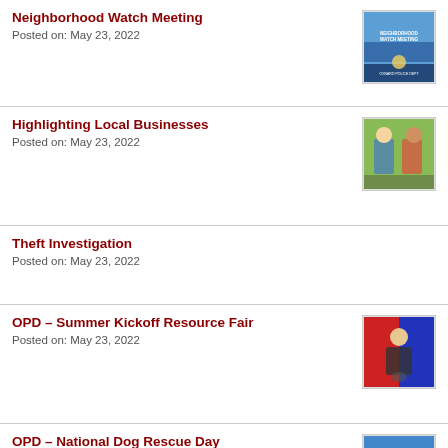Neighborhood Watch Meeting
Posted on: May 23, 2022
[Figure (photo): Neighborhood Watch Meeting flyer/image with blue background]
Highlighting Local Businesses
Posted on: May 23, 2022
[Figure (photo): Photo of two people at a local business event]
Theft Investigation
Posted on: May 23, 2022
OPD – Summer Kickoff Resource Fair
Posted on: May 23, 2022
[Figure (photo): Photo of officers at Summer Kickoff Resource Fair with red and blue backdrop]
OPD – National Dog Rescue Day
Posted on: May 20, 2022
[Figure (photo): Photo related to National Dog Rescue Day, partially obscured by Google Translate widget]